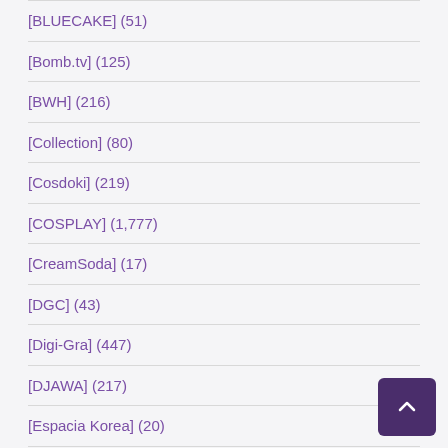[BLUECAKE] (51)
[Bomb.tv] (125)
[BWH] (216)
[Collection] (80)
[Cosdoki] (219)
[COSPLAY] (1,777)
[CreamSoda] (17)
[DGC] (43)
[Digi-Gra] (447)
[DJAWA] (217)
[Espacia Korea] (20)
[Fantia] (76)